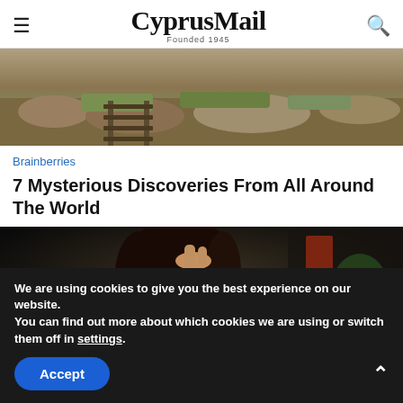CyprusMail Founded 1945
[Figure (photo): Outdoor landscape photo showing rocky terrain with railroad tracks and dry grassy areas]
Brainberries
7 Mysterious Discoveries From All Around The World
[Figure (photo): Photo of a young Asian woman looking downward with her hand raised to her forehead, appearing thoughtful or stressed, with a blurred background]
We are using cookies to give you the best experience on our website.
You can find out more about which cookies we are using or switch them off in settings.
Accept